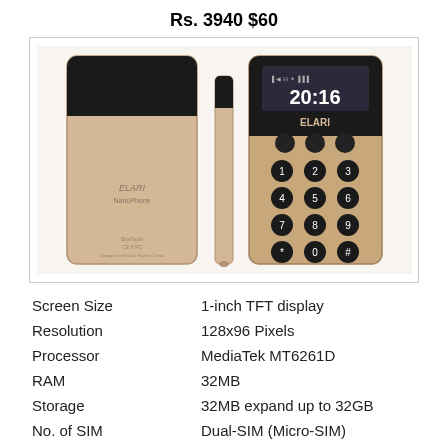Rs. 3940 $60
[Figure (photo): Product photo of ELARI NanoPhone shown from three angles: back view (gold/champagne body with ELARI NanoPhone branding and CE markings), side view (slim profile), and front view (showing 20:16 on display, ELARI branding, and numeric keypad with circular buttons)]
| Screen Size | 1-inch TFT display |
| Resolution | 128x96 Pixels |
| Processor | MediaTek MT6261D |
| RAM | 32MB |
| Storage | 32MB expand up to 32GB |
| No. of SIM | Dual-SIM (Micro-SIM) |
| Battery | 280mAh |